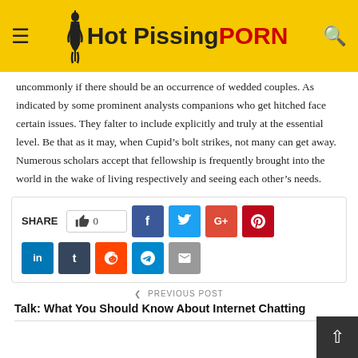Hot Pissing PORN
uncommonly if there should be an occurrence of wedded couples. As indicated by some prominent analysts companions who get hitched face certain issues. They falter to include explicitly and truly at the essential level. Be that as it may, when Cupid’s bolt strikes, not many can get away. Numerous scholars accept that fellowship is frequently brought into the world in the wake of living respectively and seeing each other’s needs.
[Figure (infographic): Social media share buttons: like counter (0), Facebook, Twitter, Google+, Pinterest, LinkedIn, Tumblr, Reddit, Telegram, Email]
< PREVIOUS POST
Talk: What You Should Know About Internet Chatting